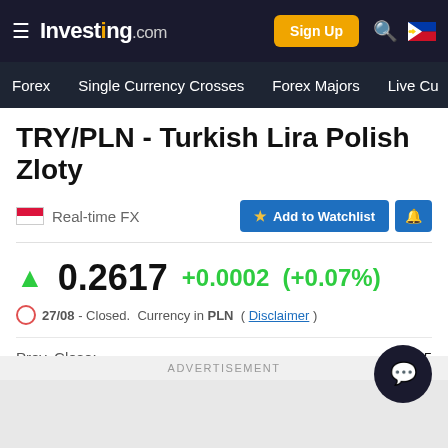Investing.com — Sign Up | Forex | Single Currency Crosses | Forex Majors | Live Cu...
TRY/PLN - Turkish Lira Polish Zloty
Real-time FX | Add to Watchlist
0.2617  +0.0002  (+0.07%)
27/08 - Closed.  Currency in PLN  ( Disclaimer )
| Label | Value |
| --- | --- |
| Prev. Close: | 0.2615 |
| Bid/Ask: | 0.___/0.___20 |
| Day's Range: | 0.___/0.___20 |
ADVERTISEMENT